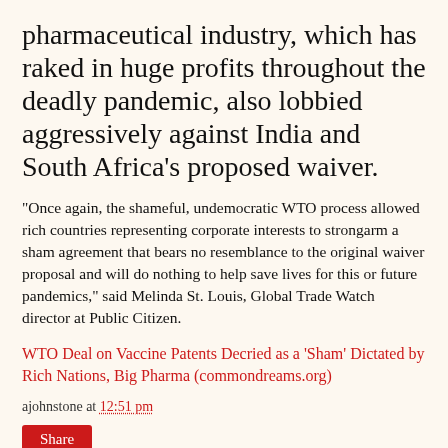pharmaceutical industry, which has raked in huge profits throughout the deadly pandemic, also lobbied aggressively against India and South Africa's proposed waiver.
"Once again, the shameful, undemocratic WTO process allowed rich countries representing corporate interests to strongarm a sham agreement that bears no resemblance to the original waiver proposal and will do nothing to help save lives for this or future pandemics," said Melinda St. Louis, Global Trade Watch director at Public Citizen.
WTO Deal on Vaccine Patents Decried as a 'Sham' Dictated by Rich Nations, Big Pharma (commondreams.org)
ajohnstone at 12:51 pm
Share